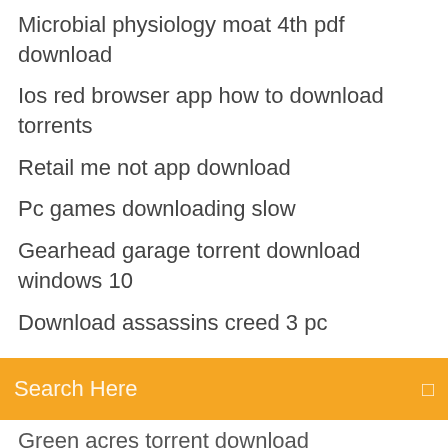Microbial physiology moat 4th pdf download
Ios red browser app how to download torrents
Retail me not app download
Pc games downloading slow
Gearhead garage torrent download windows 10
Download assassins creed 3 pc
[Figure (screenshot): Orange search bar with text 'Search Here' and a search icon on the right]
Green acres torrent download
Android terminal commands pdf download
Rogue season 1 the aquarium free download torrent
Ps4 download speed much slower than phone
Vidalia bundle last version download
Cartoon all star to the rescue torrent download
Android how to download mms slideshow
Canon pixma mg2922 scanner driver download
Download dell dimension 8400 drivers
Free download newton 1 for pc